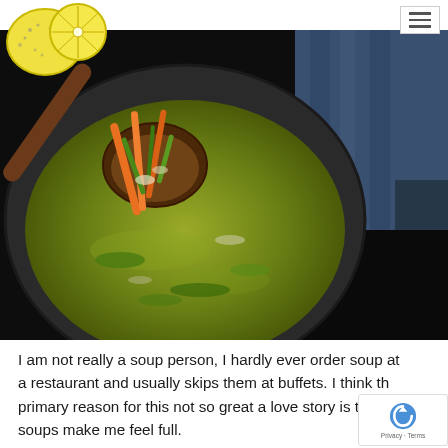[Figure (logo): Yellow lemon/citrus illustrated logo with two lemon shapes, one whole and one sliced]
[Figure (photo): Close-up photograph of a dark bowl containing vegetable soup with carrots, green vegetables, and broth, with a wooden ladle scooping vegetables. A person in denim clothing is visible in the background right.]
I am not really a soup person, I hardly ever order soup at a restaurant and usually skips them at buffets. I think the primary reason for this not so great a love story is that soups make me feel full.